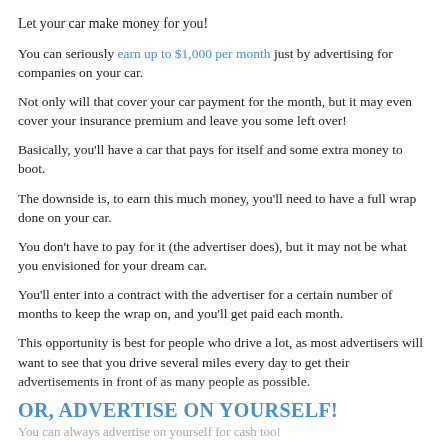Let your car make money for you!
You can seriously earn up to $1,000 per month just by advertising for companies on your car.
Not only will that cover your car payment for the month, but it may even cover your insurance premium and leave you some left over!
Basically, you'll have a car that pays for itself and some extra money to boot.
The downside is, to earn this much money, you'll need to have a full wrap done on your car.
You don't have to pay for it (the advertiser does), but it may not be what you envisioned for your dream car.
You'll enter into a contract with the advertiser for a certain number of months to keep the wrap on, and you'll get paid each month.
This opportunity is best for people who drive a lot, as most advertisers will want to see that you drive several miles every day to get their advertisements in front of as many people as possible.
OR, ADVERTISE ON YOURSELF!
You can always advertise on yourself for cash too!